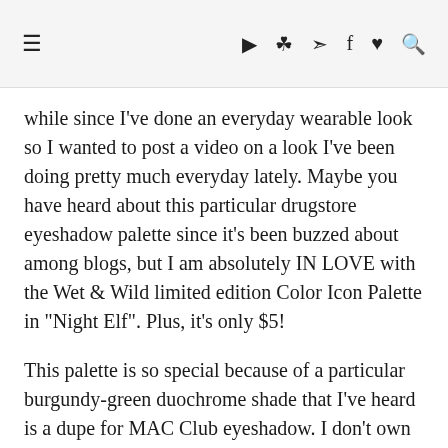≡ ▶ 📷 🐦 f ♥ 🔍
while since I've done an everyday wearable look so I wanted to post a video on a look I've been doing pretty much everyday lately. Maybe you have heard about this particular drugstore eyeshadow palette since it's been buzzed about among blogs, but I am absolutely IN LOVE with the Wet & Wild limited edition Color Icon Palette in "Night Elf". Plus, it's only $5!
This palette is so special because of a particular burgundy-green duochrome shade that I've heard is a dupe for MAC Club eyeshadow. I don't own Club myself, but I can say it is very similar to my Rock & Republic